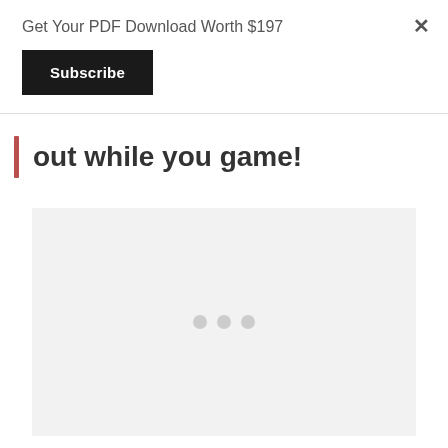Get Your PDF Download Worth $197
Subscribe
×
out while you game!
[Figure (other): Light gray placeholder content box with three small gray dots centered inside, representing a loading or ad placeholder area]